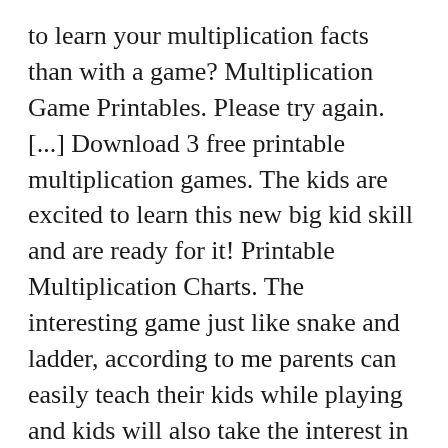to learn your multiplication facts than with a game? Multiplication Game Printables. Please try again. [...] Download 3 free printable multiplication games. The kids are excited to learn this new big kid skill and are ready for it! Printable Multiplication Charts. The interesting game just like snake and ladder, according to me parents can easily teach their kids while playing and kids will also take the interest in it. Singing can bring so much joy, FREE Poetry Analysis & Copywork for New Year's, Help your students dig into poetry with this New Year's poem by Christina Rossetti. These specific sequences of operations ... Was this helpful? Multiplication Hopscotch This Hopscotch Math is much of a FUN PREP printable and...